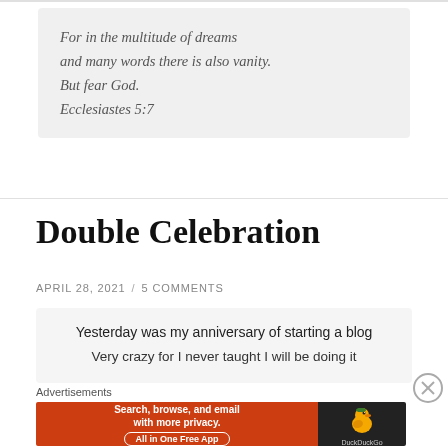For in the multitude of dreams and many words there is also vanity. But fear God. Ecclesiastes 5:7
Double Celebration
APRIL 28, 2021 / 5 COMMENTS
Yesterday was my anniversary of starting a blog Very crazy for I never taught I will be doing it
Advertisements
[Figure (screenshot): DuckDuckGo advertisement banner: orange section with text 'Search, browse, and email with more privacy. All in One Free App' and dark section with DuckDuckGo duck logo]